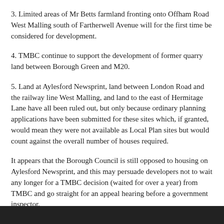3.  Limited areas of Mr Betts farmland fronting onto Offham Road West Malling south of Fartherwell Avenue will for the first time be considered for development.
4. TMBC continue to support the development of former quarry land between Borough Green and M20.
5.  Land at Aylesford Newsprint, land between London Road and the railway line West Malling, and land to the east of Hermitage Lane have all been ruled out, but only because ordinary planning applications have been submitted for these sites which, if granted, would mean they were not available as Local Plan sites but would count against the overall number of houses required.
It appears that the Borough Council is still opposed to housing on Aylesford Newsprint,  and this may persuade developers not to wait any longer for a TMBC decision (waited for over a year) from TMBC and go straight for an appeal hearing before a government inspector.